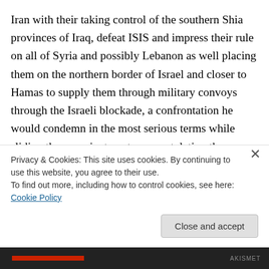Iran with their taking control of the southern Shia provinces of Iraq, defeat ISIS and impress their rule on all of Syria and possibly Lebanon as well placing them on the northern border of Israel and closer to Hamas to supply them through military convoys through the Israeli blockade, a confrontation he would condemn in the most serious terms while sliding them a private note congratulating them on their bold strategies. If I were Saudi Arabia I would be very wary of any Shiite uprisings in the northeast territories, especially the oil field lands and I cannot give serious enough warnings to King Abdullah...
Privacy & Cookies: This site uses cookies. By continuing to use this website, you agree to their use.
To find out more, including how to control cookies, see here: Cookie Policy
Close and accept